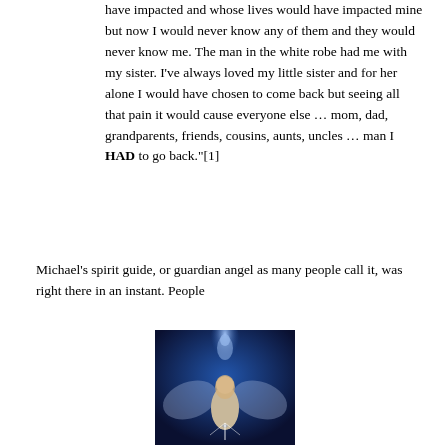have impacted and whose lives would have impacted mine but now I would never know any of them and they would never know me. The man in the white robe had me with my sister. I've always loved my little sister and for her alone I would have chosen to come back but seeing all that pain it would cause everyone else … mom, dad, grandparents, friends, cousins, aunts, uncles … man I HAD to go back."[1]
Michael's spirit guide, or guardian angel as many people call it, was right there in an instant. People
[Figure (illustration): Illustration of a guardian angel — a robed female figure with glowing wings and light emanating from her hands, set against a deep blue background with a translucent spirit figure rising above her.]